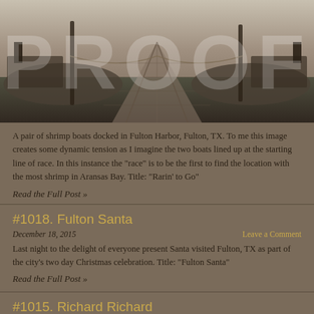[Figure (photo): Black and white photograph of a pair of shrimp boats docked in Fulton Harbor, Fulton, TX, viewed from a dock perspective. A 'PROOF' watermark overlays the image.]
A pair of shrimp boats docked in Fulton Harbor, Fulton, TX. To me this image creates some dynamic tension as I imagine the two boats lined up at the starting line of race. In this instance the "race" is to be the first to find the location with the most shrimp in Aransas Bay. Title: "Rarin' to Go"
Read the Full Post »
#1018. Fulton Santa
December 18, 2015
Leave a Comment
Last night to the delight of everyone present Santa visited Fulton, TX as part of the city's two day Christmas celebration. Title: "Fulton Santa"
Read the Full Post »
#1015. Richard Richard